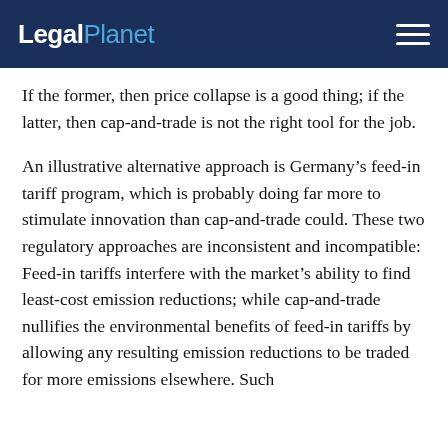LegalPlanet
If the former, then price collapse is a good thing; if the latter, then cap-and-trade is not the right tool for the job.
An illustrative alternative approach is Germany’s feed-in tariff program, which is probably doing far more to stimulate innovation than cap-and-trade could. These two regulatory approaches are inconsistent and incompatible: Feed-in tariffs interfere with the market’s ability to find least-cost emission reductions; while cap-and-trade nullifies the environmental benefits of feed-in tariffs by allowing any resulting emission reductions to be traded for more emissions elsewhere. Such